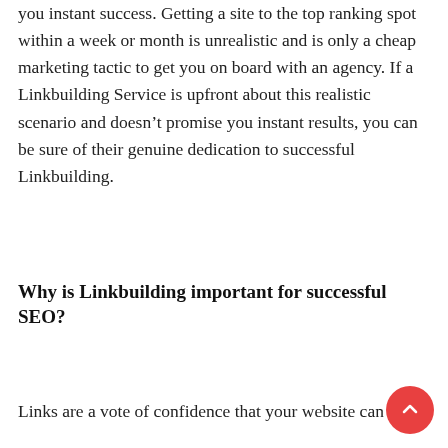you instant success. Getting a site to the top ranking spot within a week or month is unrealistic and is only a cheap marketing tactic to get you on board with an agency. If a Linkbuilding Service is upfront about this realistic scenario and doesn't promise you instant results, you can be sure of their genuine dedication to successful Linkbuilding.
Why is Linkbuilding important for successful SEO?
Links are a vote of confidence that your website can be